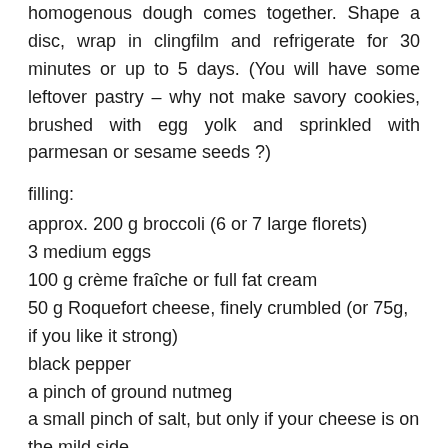homogenous dough comes together. Shape a disc, wrap in clingfilm and refrigerate for 30 minutes or up to 5 days. (You will have some leftover pastry – why not make savory cookies, brushed with egg yolk and sprinkled with parmesan or sesame seeds ?)
filling:
approx. 200 g broccoli (6 or 7 large florets)
3 medium eggs
100 g crème fraîche or full fat cream
50 g Roquefort cheese, finely crumbled (or 75g, if you like it strong)
black pepper
a pinch of ground nutmeg
a small pinch of salt, but only if your cheese is on the mild side
In a medium pot with lightly salted water, blanch broccoli